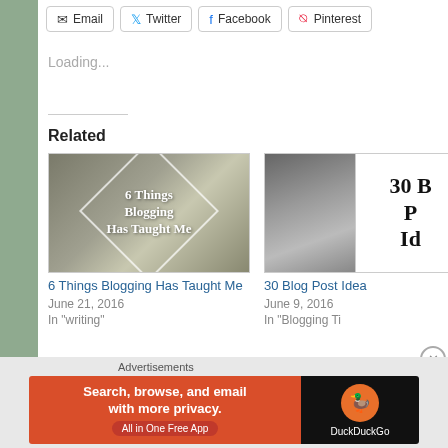[Figure (screenshot): Share buttons row: Email, Twitter, Facebook, Pinterest with icons and rounded borders]
Loading...
Related
[Figure (photo): Blog post thumbnail: laptop screen with text '6 Things Blogging Has Taught Me' overlaid with diamond frame]
6 Things Blogging Has Taught Me
June 21, 2016
In "writing"
[Figure (photo): Blog post thumbnail: camera photo on left, text box on right with '30 B... Po... Id...' partially visible]
30 Blog Post Idea
June 9, 2016
In "Blogging Ti
Advertisements
[Figure (screenshot): DuckDuckGo advertisement banner: orange left side with text 'Search, browse, and email with more privacy. All in One Free App', dark right side with DuckDuckGo logo]